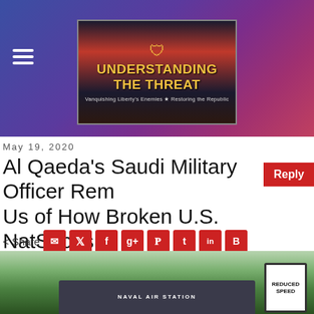[Figure (logo): Understanding The Threat website logo banner with shield icon, gold text reading UNDERSTANDING THE THREAT, subtitle Vanquishing Liberty's Enemies * Restoring the Republic, on dark red/blue gradient background. Hamburger menu icon on left.]
May 19, 2020
Al Qaeda’s Saudi Military Officer Reminds Us of How Broken U.S. NatSec Is
Reply
Share
by John D. Guandolo
[Figure (photo): Exterior photo of Naval Air Station building with sign reading NAVAL AIR STATION, trees in background, reduced speed sign visible on right edge.]